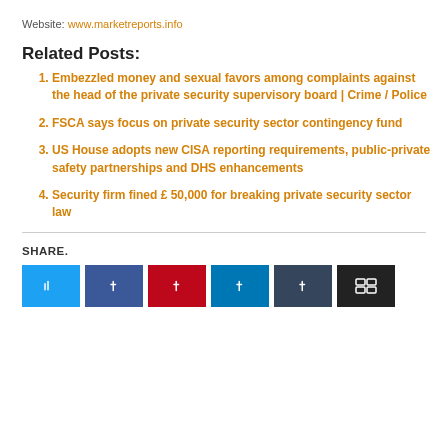Website: www.marketreports.info
Related Posts:
Embezzled money and sexual favors among complaints against the head of the private security supervisory board | Crime / Police
FSCA says focus on private security sector contingency fund
US House adopts new CISA reporting requirements, public-private safety partnerships and DHS enhancements
Security firm fined £ 50,000 for breaking private security sector law
SHARE.